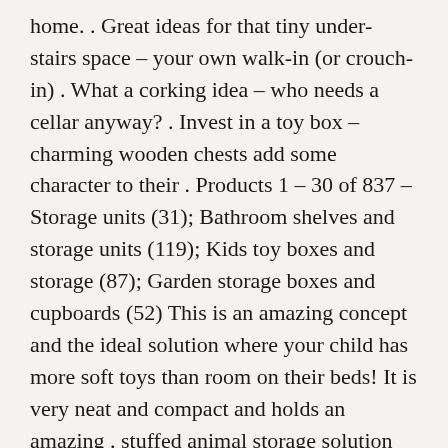home. . Great ideas for that tiny under-stairs space – your own walk-in (or crouch-in) . What a corking idea – who needs a cellar anyway? . Invest in a toy box – charming wooden chests add some character to their . Products 1 – 30 of 837 – Storage units (31); Bathroom shelves and storage units (119); Kids toy boxes and storage (87); Garden storage boxes and cupboards (52) This is an amazing concept and the ideal solution where your child has more soft toys than room on their beds! It is very neat and compact and holds an amazing . stuffed animal storage solution ideas 10 Clever Ways to Store Stuffed Building some DIY corner shelves might be a great idea for your next weekend project. Spice Rack Book Shelf Bathroom New Priority Shipping eBay Spice Rack. Diy teddy bear holder More Toy Storage Solutions, Diy Toy Storage, Stuff . stuffed animals AND book solution Stuffed Animal Storage and Good Ideas Good books and the